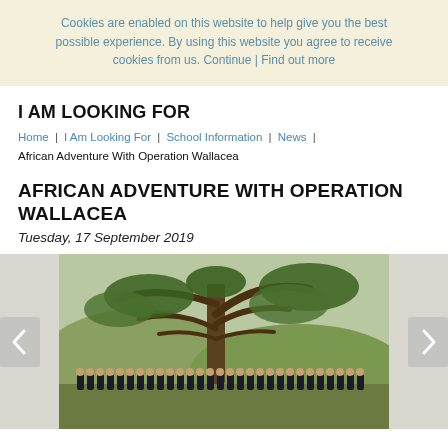Cookies are enabled on this website to help give you the best possible experience. By using this website you agree to receive cookies from us. Continue | Find out more
I AM LOOKING FOR
Home | I Am Looking For | School Information | News | African Adventure With Operation Wallacea
AFRICAN ADVENTURE WITH OPERATION WALLACEA
Tuesday, 17 September 2019
[Figure (photo): Group photo of students in dark uniforms standing outdoors under a large tree with hills/mountains in the background. Navigation arrows on left and right sides.]